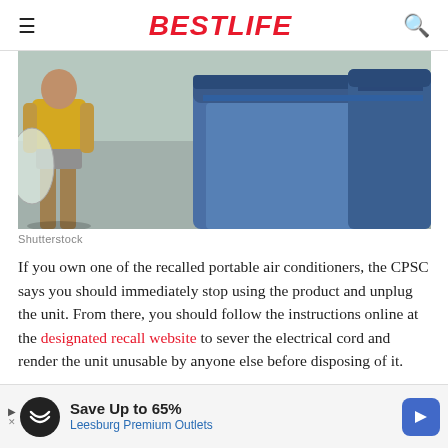BESTLIFE
[Figure (photo): Person in yellow shirt carrying a clear garbage bag next to large blue recycling/garbage bins outdoors]
Shutterstock
If you own one of the recalled portable air conditioners, the CPSC says you should immediately stop using the product and unplug the unit. From there, you should follow the instructions online at the designated recall website to sever the electrical cord and render the unit unusable by anyone else before disposing of it.
[Figure (screenshot): Advertisement banner: Save Up to 65% Leesburg Premium Outlets]